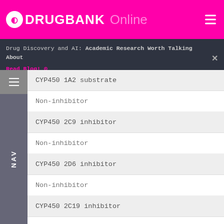DRUGBANK Online
Drug Discovery and AI: Academic Research Worth Talking About
Read Blog!
CYP450 1A2 substrate
Non-inhibitor
CYP450 2C9 inhibitor
Non-inhibitor
CYP450 2D6 inhibitor
Non-inhibitor
CYP450 2C19 inhibitor
Non-inhibitor
CYP450 3A4 inhibitor
Non-inhibitor
CYP450 inhibitory promiscuity